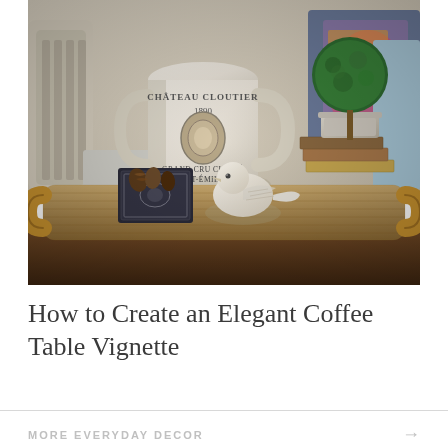[Figure (photo): A styled coffee table vignette featuring a white ceramic jug labeled 'CHATEAU CLOUTIER 1890 GRAND CRU CLASSE SAINT-EMILION', a small topiary in a white pot on stacked books, a white ceramic bird figurine, a decorative dark metal box with pinecones, all arranged on a woven rattan tray with handles on a dark wood coffee table. Colorful pillows are visible in the background.]
How to Create an Elegant Coffee Table Vignette
MORE EVERYDAY DECOR →